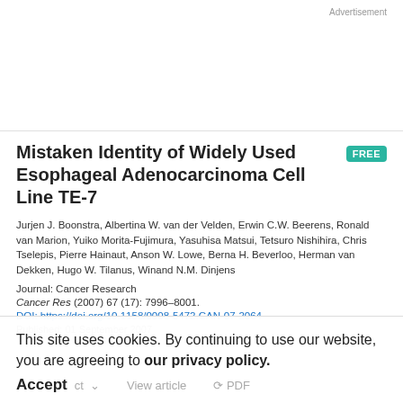Advertisement
Mistaken Identity of Widely Used Esophageal Adenocarcinoma Cell Line TE-7
Jurjen J. Boonstra, Albertina W. van der Velden, Erwin C.W. Beerens, Ronald van Marion, Yuiko Morita-Fujimura, Yasuhisa Matsui, Tetsuro Nishihira, Chris Tselepis, Pierre Hainaut, Anson W. Lowe, Berna H. Beverloo, Herman van Dekken, Hugo W. Tilanus, Winand N.M. Dinjens
Journal: Cancer Research
Cancer Res (2007) 67 (17): 7996–8001.
DOI: https://doi.org/10.1158/0008-5472.CAN-07-2064
Published: 01 September 2007
This site uses cookies. By continuing to use our website, you are agreeing to our privacy policy. Accept